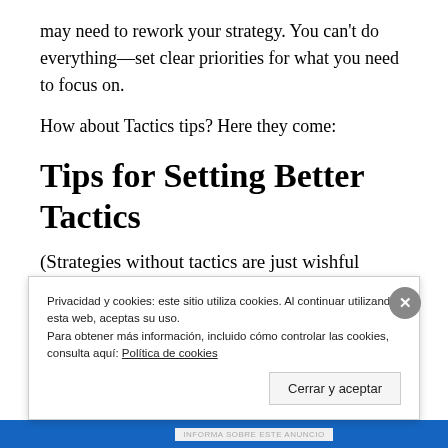may need to rework your strategy. You can't do everything—set clear priorities for what you need to focus on.
How about Tactics tips? Here they come:
Tips for Setting Better Tactics
(Strategies without tactics are just wishful thinking)
Your tactics define the steps necessary to execute your strategies and achieve your goals. Here's how to set
Privacidad y cookies: este sitio utiliza cookies. Al continuar utilizando esta web, aceptas su uso.
Para obtener más información, incluido cómo controlar las cookies, consulta aquí: Política de cookies
Cerrar y aceptar
INFORMA SOBRE ESTE ANUNCIO